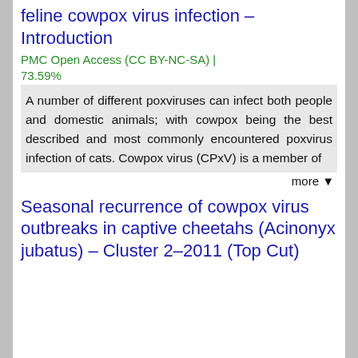feline cowpox virus infection – Introduction
PMC Open Access (CC BY-NC-SA) | 73.59%
A number of different poxviruses can infect both people and domestic animals; with cowpox being the best described and most commonly encountered poxvirus infection of cats. Cowpox virus (CPxV) is a member of
more ▼
Seasonal recurrence of cowpox virus outbreaks in captive cheetahs (Acinonyx jubatus) – Cluster 2–2011 (Top Cut)